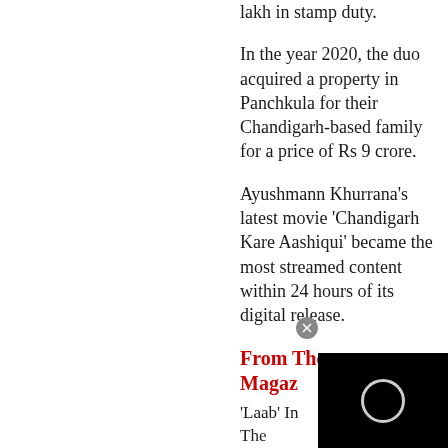lakh in stamp duty.
In the year 2020, the duo acquired a property in Panchkula for their Chandigarh-based family for a price of Rs 9 crore.
Ayushmann Khurrana’s latest movie ‘Chandigarh Kare Aashiqui’ became the most streamed content within 24 hours of its digital release.
From The Magazine
‘Laab’ In The